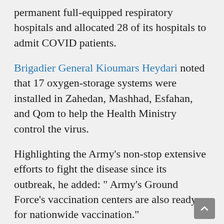permanent full-equipped respiratory hospitals and allocated 28 of its hospitals to admit COVID patients.
Brigadier General Kioumars Heydari noted that 17 oxygen-storage systems were installed in Zahedan, Mashhad, Esfahan, and Qom to help the Health Ministry control the virus.
Highlighting the Army's non-stop extensive efforts to fight the disease since its outbreak, he added: " Army's Ground Force's vaccination centers are also ready for nationwide vaccination."
Bahram Einollahi, the Minister of Health and Medical Education of Iran on Monday on the sidelines of the beginning of the third phase of the clinical trial of the Iranian vaccine 'Fakhra' stated that that Fakhra is one of the high-quality and effective vaccines.
The third phase of the Fakhra Iranian vaccine clinical